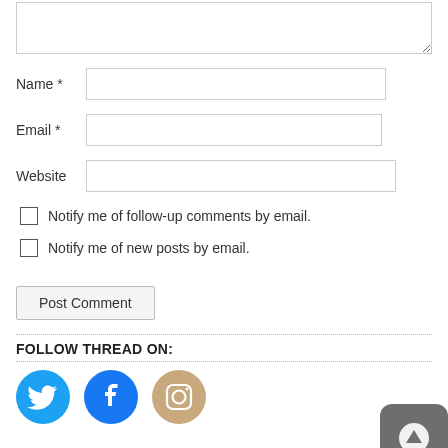[Figure (screenshot): Comment form textarea (partially visible at top), name/email/website input fields, two checkboxes for email notifications, Post Comment button, Follow Thread On section with Twitter/Facebook/Instagram social icons and a scroll-to-top button]
Name *
Email *
Website
Notify me of follow-up comments by email.
Notify me of new posts by email.
FOLLOW THREAD ON: